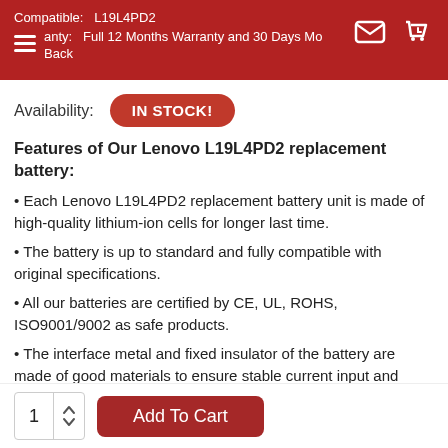Compatible: L19L4PD2
Warranty: Full 12 Months Warranty and 30 Days Money Back
Availability: IN STOCK!
Features of Our Lenovo L19L4PD2 replacement battery:
• Each Lenovo L19L4PD2 replacement battery unit is made of high-quality lithium-ion cells for longer last time.
• The battery is up to standard and fully compatible with original specifications.
• All our batteries are certified by CE, UL, ROHS, ISO9001/9002 as safe products.
• The interface metal and fixed insulator of the battery are made of good materials to ensure stable current input and durability.
1  Add To Cart